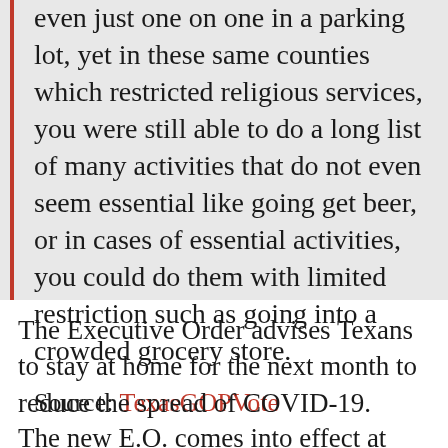even just one on one in a parking lot, yet in these same counties which restricted religious services, you were still able to do a long list of many activities that do not even seem essential like going get beer, or in cases of essential activities, you could do them with limited restriction such as going into a crowded grocery store.
Source: TexasGOPVote
The Executive Order advises Texans to stay at home for the next month to reduce the spread of COVID-19.
The new E.O. comes into effect at 12:01 am